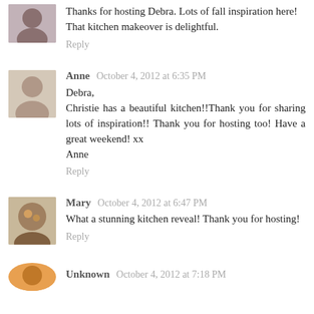[Figure (photo): Small avatar photo of a person, top left corner]
Thanks for hosting Debra. Lots of fall inspiration here! That kitchen makeover is delightful.
Reply
[Figure (photo): Small avatar photo of Anne]
Anne  October 4, 2012 at 6:35 PM
Debra,
Christie has a beautiful kitchen!!Thank you for sharing lots of inspiration!! Thank you for hosting too! Have a great weekend! xx
Anne
Reply
[Figure (photo): Small avatar photo of Mary]
Mary  October 4, 2012 at 6:47 PM
What a stunning kitchen reveal! Thank you for hosting!
Reply
[Figure (photo): Small partial avatar of Unknown commenter at bottom]
Unknown  October 4, 2012 at 7:18 PM